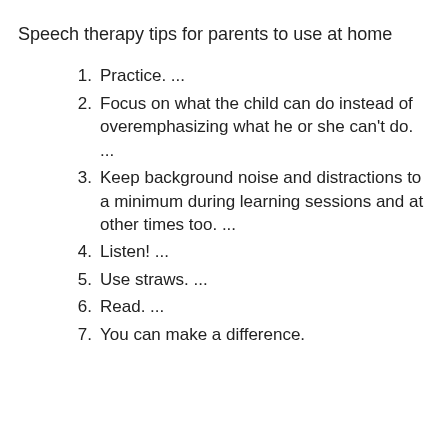Speech therapy tips for parents to use at home
Practice. ...
Focus on what the child can do instead of overemphasizing what he or she can't do. ...
Keep background noise and distractions to a minimum during learning sessions and at other times too. ...
Listen! ...
Use straws. ...
Read. ...
You can make a difference.